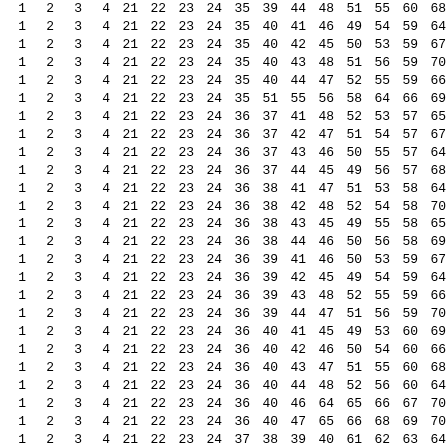| 1 | 2 | 3 | 4 | 21 | 22 | 23 | 24 | 35 | 39 | 44 | 48 | 51 | 55 | 60 | 68 |
| 1 | 2 | 3 | 4 | 21 | 22 | 23 | 24 | 35 | 40 | 41 | 46 | 49 | 54 | 59 | 64 |
| 1 | 2 | 3 | 4 | 21 | 22 | 23 | 24 | 35 | 40 | 42 | 45 | 50 | 53 | 59 | 67 |
| 1 | 2 | 3 | 4 | 21 | 22 | 23 | 24 | 35 | 40 | 43 | 48 | 51 | 56 | 59 | 70 |
| 1 | 2 | 3 | 4 | 21 | 22 | 23 | 24 | 35 | 40 | 44 | 47 | 52 | 55 | 59 | 66 |
| 1 | 2 | 3 | 4 | 21 | 22 | 23 | 24 | 35 | 51 | 55 | 56 | 58 | 64 | 66 | 69 |
| 1 | 2 | 3 | 4 | 21 | 22 | 23 | 24 | 36 | 37 | 41 | 48 | 52 | 53 | 57 | 65 |
| 1 | 2 | 3 | 4 | 21 | 22 | 23 | 24 | 36 | 37 | 42 | 47 | 51 | 54 | 57 | 67 |
| 1 | 2 | 3 | 4 | 21 | 22 | 23 | 24 | 36 | 37 | 43 | 46 | 50 | 55 | 57 | 64 |
| 1 | 2 | 3 | 4 | 21 | 22 | 23 | 24 | 36 | 37 | 44 | 45 | 49 | 56 | 57 | 68 |
| 1 | 2 | 3 | 4 | 21 | 22 | 23 | 24 | 36 | 38 | 41 | 47 | 51 | 53 | 58 | 64 |
| 1 | 2 | 3 | 4 | 21 | 22 | 23 | 24 | 36 | 38 | 42 | 48 | 52 | 54 | 58 | 70 |
| 1 | 2 | 3 | 4 | 21 | 22 | 23 | 24 | 36 | 38 | 43 | 45 | 49 | 55 | 58 | 65 |
| 1 | 2 | 3 | 4 | 21 | 22 | 23 | 24 | 36 | 38 | 44 | 46 | 50 | 56 | 58 | 69 |
| 1 | 2 | 3 | 4 | 21 | 22 | 23 | 24 | 36 | 39 | 41 | 46 | 50 | 53 | 59 | 67 |
| 1 | 2 | 3 | 4 | 21 | 22 | 23 | 24 | 36 | 39 | 42 | 45 | 49 | 54 | 59 | 64 |
| 1 | 2 | 3 | 4 | 21 | 22 | 23 | 24 | 36 | 39 | 43 | 48 | 52 | 55 | 59 | 66 |
| 1 | 2 | 3 | 4 | 21 | 22 | 23 | 24 | 36 | 39 | 44 | 47 | 51 | 56 | 59 | 70 |
| 1 | 2 | 3 | 4 | 21 | 22 | 23 | 24 | 36 | 40 | 41 | 45 | 49 | 53 | 60 | 69 |
| 1 | 2 | 3 | 4 | 21 | 22 | 23 | 24 | 36 | 40 | 42 | 46 | 50 | 54 | 60 | 66 |
| 1 | 2 | 3 | 4 | 21 | 22 | 23 | 24 | 36 | 40 | 43 | 47 | 51 | 55 | 60 | 68 |
| 1 | 2 | 3 | 4 | 21 | 22 | 23 | 24 | 36 | 40 | 44 | 48 | 52 | 56 | 60 | 64 |
| 1 | 2 | 3 | 4 | 21 | 22 | 23 | 24 | 36 | 40 | 46 | 64 | 65 | 66 | 67 | 70 |
| 1 | 2 | 3 | 4 | 21 | 22 | 23 | 24 | 36 | 40 | 47 | 65 | 66 | 68 | 69 | 70 |
| 1 | 2 | 3 | 4 | 21 | 22 | 23 | 24 | 37 | 38 | 39 | 40 | 61 | 62 | 63 | 64 |
| 1 | 2 | 3 | 4 | 21 | 22 | 23 | 24 | 37 | 38 | 41 | 42 | 51 | 52 | 63 | 69 |
| 1 | 2 | 3 | 4 | 21 | 22 | 23 | 24 | 37 | 38 | 43 | 44 | 49 | 50 | 63 | 70 |
| 1 | 2 | 3 | 4 | 21 | 22 | 23 | 24 | 37 | 38 | 45 | 46 | 55 | 56 | 63 | 67 |
| 1 | 2 | 3 | 4 | 21 | 22 | 23 | 24 | 37 | 38 | 47 | 48 | 53 | 54 | 63 | 68 |
| 1 | 2 | 3 | 4 | 21 | 22 | 23 | 24 | 37 | 39 | 41 | 43 | 50 | 52 | 62 | 68 |